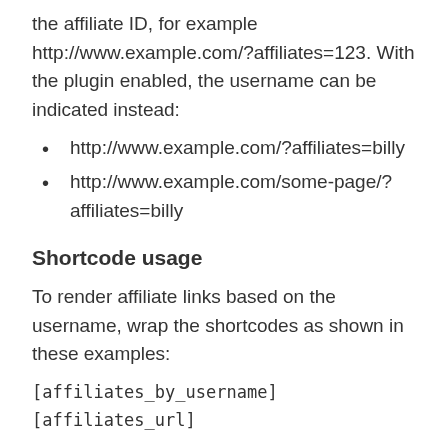the affiliate ID, for example http://www.example.com/?affiliates=123. With the plugin enabled, the username can be indicated instead:
http://www.example.com/?affiliates=billy
http://www.example.com/some-page/?affiliates=billy
Shortcode usage
To render affiliate links based on the username, wrap the shortcodes as shown in these examples:
[affiliates_by_username]
[affiliates_url]